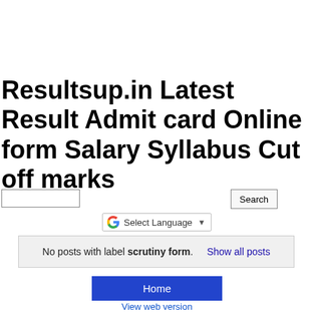Resultsup.in Latest Result Admit card Online form Salary Syllabus Cut off marks
No posts with label scrutiny form.  Show all posts
Home
View web version